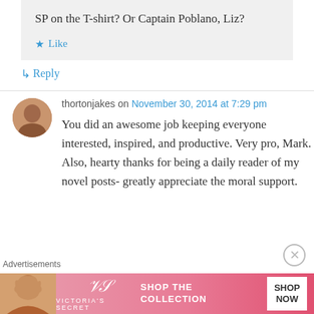SP on the T-shirt? Or Captain Poblano, Liz?
★ Like
↳ Reply
thortonjakes on November 30, 2014 at 7:29 pm
You did an awesome job keeping everyone interested, inspired, and productive. Very pro, Mark. Also, hearty thanks for being a daily reader of my novel posts- greatly appreciate the moral support.
Advertisements
[Figure (photo): Victoria's Secret advertisement banner with woman model, VS logo, 'SHOP THE COLLECTION' text, and 'SHOP NOW' button]